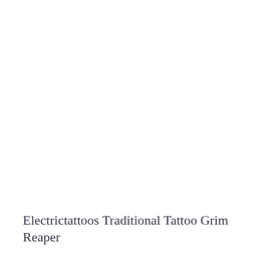Electrictattoos Traditional Tattoo Grim Reaper